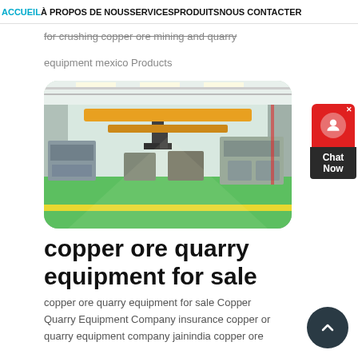ACCUEIL À PROPOS DE NOUS SERVICES PRODUITS NOUS CONTACTER
for crushing copper ore mining and quarry equipment mexico Products
[Figure (photo): Interior of an industrial factory/manufacturing facility showing overhead crane (orange bridge crane), green epoxy floor, and heavy machinery equipment along both sides of a wide aisle.]
copper ore quarry equipment for sale
copper ore quarry equipment for sale Copper Quarry Equipment Company insurance copper ore quarry equipment company jainindia copper ore